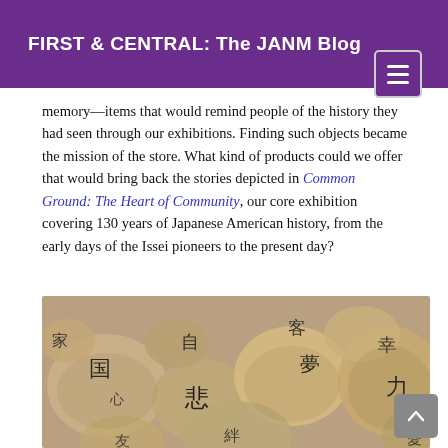FIRST & CENTRAL: The JANM Blog
memory—items that would remind people of the history they had seen through our exhibitions. Finding such objects became the mission of the store. What kind of products could we offer that would bring back the stories depicted in Common Ground: The Heart of Community, our core exhibition covering 130 years of Japanese American history, from the early days of the Issei pioneers to the present day?
[Figure (photo): Smooth river stones with Japanese kanji characters written on them in black ink, arranged together. Various characters visible including those for words like family, sorrow, home, strength, dream.]